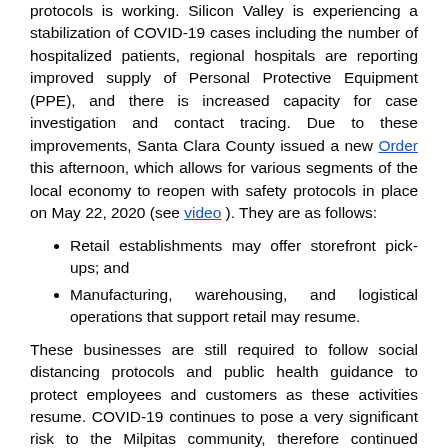protocols is working. Silicon Valley is experiencing a stabilization of COVID-19 cases including the number of hospitalized patients, regional hospitals are reporting improved supply of Personal Protective Equipment (PPE), and there is increased capacity for case investigation and contact tracing. Due to these improvements, Santa Clara County issued a new Order this afternoon, which allows for various segments of the local economy to reopen with safety protocols in place on May 22, 2020 (see video). They are as follows:
Retail establishments may offer storefront pick-ups; and
Manufacturing, warehousing, and logistical operations that support retail may resume.
These businesses are still required to follow social distancing protocols and public health guidance to protect employees and customers as these activities resume. COVID-19 continues to pose a very significant risk to the Milpitas community, therefore continued vigilance is necessary to ensure that we continue to experience progress.